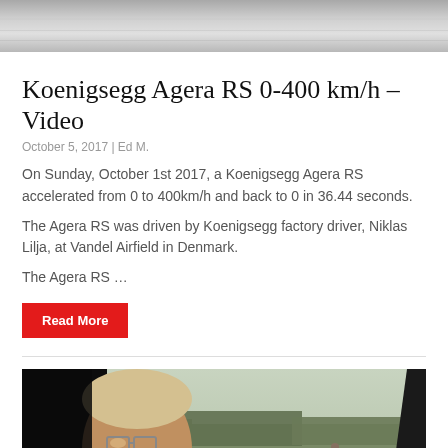[Figure (photo): Top banner image showing a gray/silver surface, likely a car hood or road, partially visible]
Koenigsegg Agera RS 0-400 km/h – Video
October 5, 2017 | Ed M.
On Sunday, October 1st 2017, a Koenigsegg Agera RS accelerated from 0 to 400km/h and back to 0 in 36.44 seconds.
The Agera RS was driven by Koenigsegg factory driver, Niklas Lilja, at Vandel Airfield in Denmark.
The Agera RS …
Read More
[Figure (photo): Interior shot from inside a car showing a man with glasses in profile on the left side, and through the windshield a dark sports car (Koenigsegg) on a road with green trees in the background. A steering wheel is visible on the right. A 'Trust' logo/sticker is visible on the exterior car.]